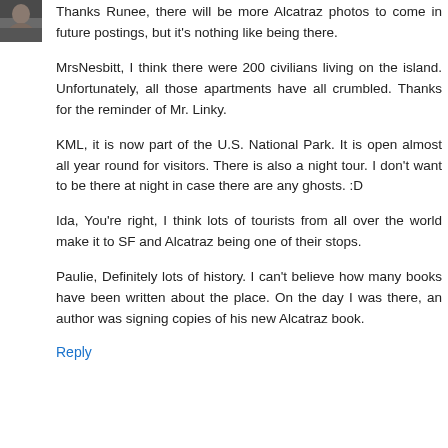[Figure (photo): Small avatar photo of a person, appears to be a profile image thumbnail in the top-left corner.]
Thanks Runee, there will be more Alcatraz photos to come in future postings, but it's nothing like being there.
MrsNesbitt, I think there were 200 civilians living on the island. Unfortunately, all those apartments have all crumbled. Thanks for the reminder of Mr. Linky.
KML, it is now part of the U.S. National Park. It is open almost all year round for visitors. There is also a night tour. I don't want to be there at night in case there are any ghosts. :D
Ida, You're right, I think lots of tourists from all over the world make it to SF and Alcatraz being one of their stops.
Paulie, Definitely lots of history. I can't believe how many books have been written about the place. On the day I was there, an author was signing copies of his new Alcatraz book.
Reply